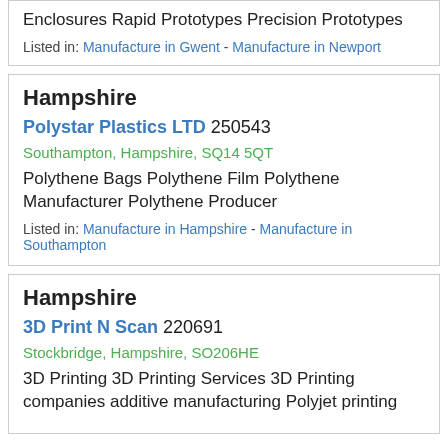Enclosures Rapid Prototypes Precision Prototypes
Listed in: Manufacture in Gwent - Manufacture in Newport
Hampshire
Polystar Plastics LTD 250543
Southampton, Hampshire, SQ14 5QT
Polythene Bags Polythene Film Polythene Manufacturer Polythene Producer
Listed in: Manufacture in Hampshire - Manufacture in Southampton
Hampshire
3D Print N Scan 220691
Stockbridge, Hampshire, SO206HE
3D Printing 3D Printing Services 3D Printing companies additive manufacturing Polyjet printing